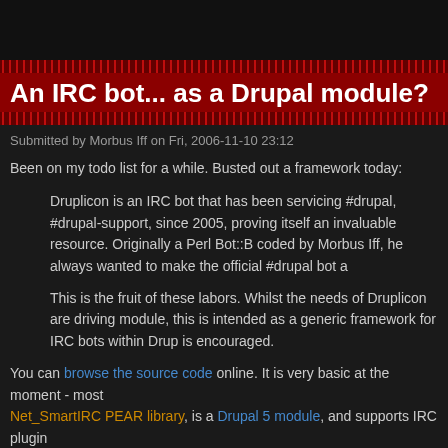[Figure (other): Dark top bar header area of website]
An IRC bot... as a Drupal module?
Submitted by Morbus Iff on Fri, 2006-11-10 23:12
Been on my todo list for a while. Busted out a framework today:
Druplicon is an IRC bot that has been servicing #drupal, #drupal-support, since 2005, proving itself an invaluable resource. Originally a Perl Bot::B coded by Morbus Iff, he always wanted to make the official #drupal bot a
This is the fruit of these labors. Whilst the needs of Druplicon are driving module, this is intended as a generic framework for IRC bots within Drup is encouraged.
You can browse the source code online. It is very basic at the moment - most Net_SmartIRC PEAR library, is a Drupal 5 module, and supports IRC plugin